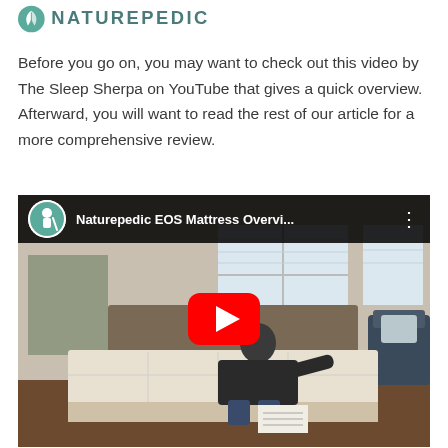[Figure (logo): Naturepedic logo — teal leaf icon followed by NATUREPEDIC text in dark teal/grey, partially cropped at top]
Before you go on, you may want to check out this video by The Sleep Sherpa on YouTube that gives a quick overview. Afterward, you will want to read the rest of our article for a more comprehensive review.
[Figure (screenshot): YouTube video thumbnail showing a man sitting on a Naturepedic EOS mattress in a bedroom. The video title reads 'Naturepedic EOS Mattress Overvi...' with a Sleep Sherpa channel avatar. A red YouTube play button is centered over the image.]